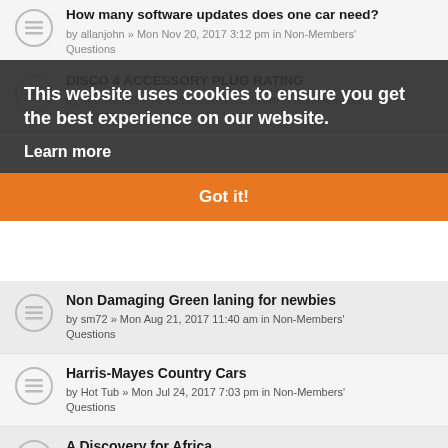How many software updates does one car need? by allanjohn » Mon Nov 20, 2017 3:12 pm in Non-Members' Questions
DISCO 4 ACCESSORY PLUG RATING by MARKU361 » Fri Oct 20, 2017 11:45 pm in Non-Members' Questions
This website uses cookies to ensure you get the best experience on our website.
Learn more
Got it!
Non Damaging Green laning for newbies by sm72 » Mon Aug 21, 2017 11:40 am in Non-Members' Questions
Harris-Mayes Country Cars by Hot Tub » Mon Jul 24, 2017 7:03 pm in Non-Members' Questions
A Discovery for Africa by Legin8 » Fri Jun 23, 2017 4:08 pm in Non-Members' Questions
Buying a Disco 4 by SkinnyMedic » Tue Apr 18, 2017 8:28 pm in Non-Members' Questions
NEW CLUB SHOP PRICES EFFECTIVE IMMEDIATELY